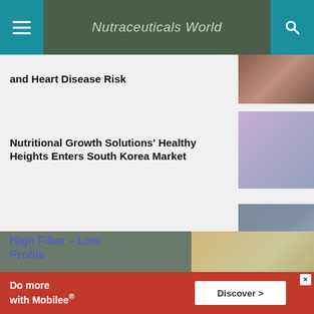Nutraceuticals World
and Heart Disease Risk
Nutritional Growth Solutions' Healthy Heights Enters South Korea Market
FDA to Host Webinar on Food Facility Registration, UFI Requirements
High Fiber – Low Profile
Do more with Mobilee®
Discover →